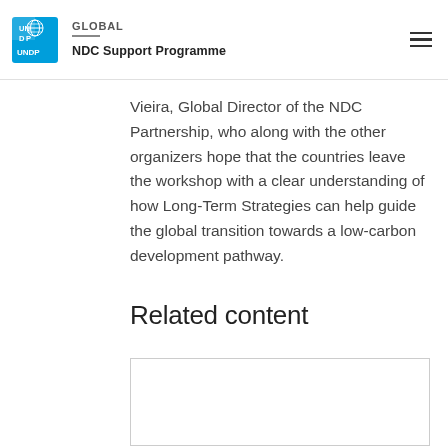GLOBAL | NDC Support Programme
Vieira, Global Director of the NDC Partnership, who along with the other organizers hope that the countries leave the workshop with a clear understanding of how Long-Term Strategies can help guide the global transition towards a low-carbon development pathway.
Related content
[Figure (other): Empty related content card placeholder with a light grey border]